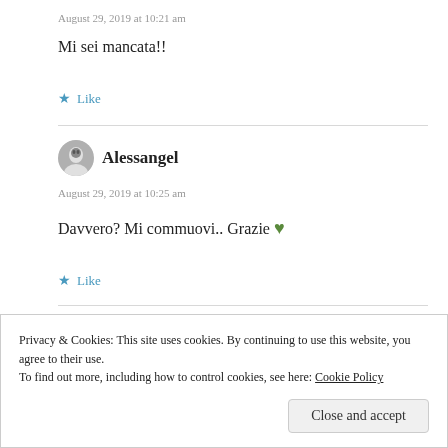August 29, 2019 at 10:21 am
Mi sei mancata!!
Like
Alessangel
August 29, 2019 at 10:25 am
Davvero? Mi commuovi.. Grazie 💚
Like
Privacy & Cookies: This site uses cookies. By continuing to use this website, you agree to their use. To find out more, including how to control cookies, see here: Cookie Policy
Close and accept